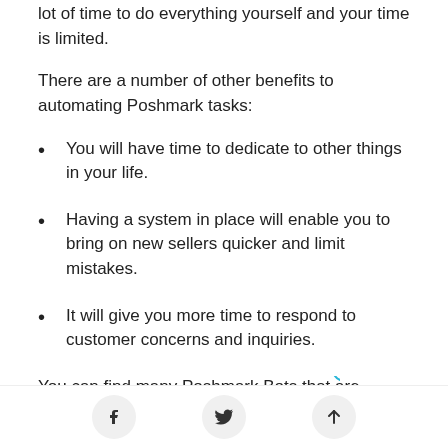lot of time to do everything yourself and your time is limited.
There are a number of other benefits to automating Poshmark tasks:
You will have time to dedicate to other things in your life.
Having a system in place will enable you to bring on new sellers quicker and limit mistakes.
It will give you more time to respond to customer concerns and inquiries.
You can find many Poshmark Bots that are serving.
[Facebook icon] [Twitter icon] [Up arrow icon]